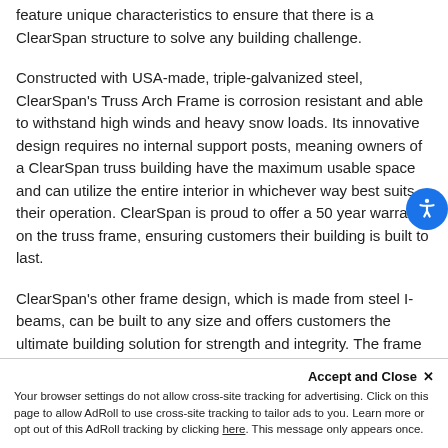feature unique characteristics to ensure that there is a ClearSpan structure to solve any building challenge.
Constructed with USA-made, triple-galvanized steel, ClearSpan's Truss Arch Frame is corrosion resistant and able to withstand high winds and heavy snow loads. Its innovative design requires no internal support posts, meaning owners of a ClearSpan truss building have the maximum usable space and can utilize the entire interior in whichever way best suits their operation. ClearSpan is proud to offer a 50 year warranty on the truss frame, ensuring customers their building is built to last.
ClearSpan's other frame design, which is made from steel I-beams, can be built to any size and offers customers the ultimate building solution for strength and integrity. The frame is constructed with grade 50 structural steel to ensure ClearSpan's I-Beam Frame is also backed up by a 50 year
Accept and Close ✕ Your browser settings do not allow cross-site tracking for advertising. Click on this page to allow AdRoll to use cross-site tracking to tailor ads to you. Learn more or opt out of this AdRoll tracking by clicking here. This message only appears once.